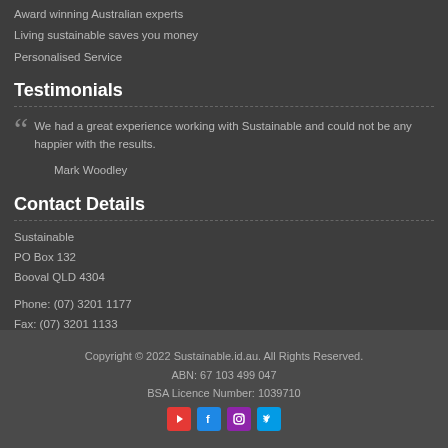Award winning Australian experts
Living sustainable saves you money
Personalised Service
Testimonials
We had a great experience working with Sustainable and could not be any happier with the results.

Mark Woodley
Contact Details
Sustainable
PO Box 132
Booval QLD 4304

Phone: (07) 3201 1177
Fax: (07) 3201 1133
Copyright © 2022 Sustainable.id.au. All Rights Reserved.
ABN: 67 103 499 047
BSA Licence Number: 1039710